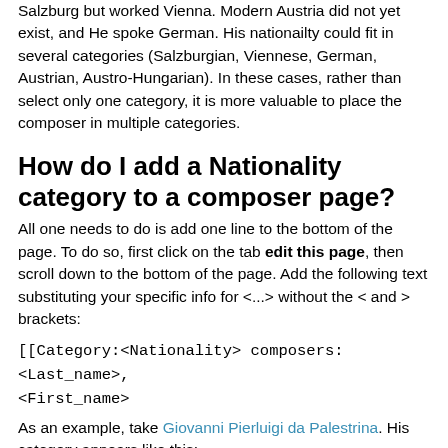Salzburg but worked Vienna. Modern Austria did not yet exist, and He spoke German. His nationailty could fit in several categories (Salzburgian, Viennese, German, Austrian, Austro-Hungarian). In these cases, rather than select only one category, it is more valuable to place the composer in multiple categories.
How do I add a Nationality category to a composer page?
All one needs to do is add one line to the bottom of the page. To do so, first click on the tab edit this page, then scroll down to the bottom of the page. Add the following text substituting your specific info for <...> without the < and > brackets:
[[Category:<Nationality> composers:<Last_name>, <First_name>
As an example, take Giovanni Pierluigi da Palestrina. His category appears like this: